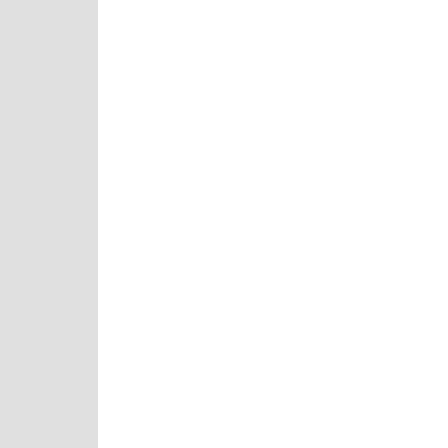News Radar
토토 totostation토 토토토토토토토. 토토토토 토토토토토토.
Reply
ahmadd Marc...
The findings o... always harmfu... bureaucracy b...
Reply
ahmadd Marc...
You can log o... got an interne... which do no lo...
Reply
ahmadd Marc...